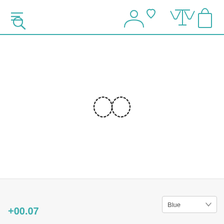[Figure (screenshot): E-commerce website header with hamburger/search icon on the left and user account, heart/wishlist, compare (scales), and shopping bag icons on the right, rendered in teal color]
[Figure (illustration): Dotted infinity symbol (loading spinner or logo) centered in the main content area]
[Figure (screenshot): Footer bar with a Blue color dropdown selector on the right and a partial teal price text on the left]